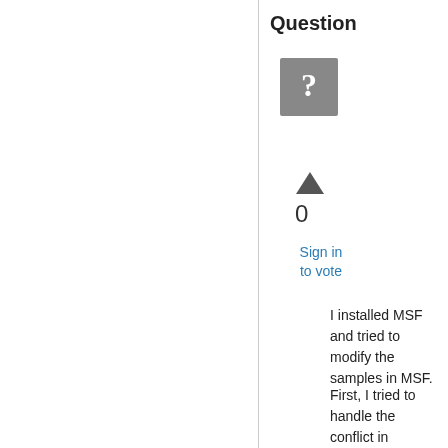Question
[Figure (other): Grey square icon with a white question mark]
0
Sign in to vote
I installed MSF and tried to modify the samples in MSF.
First, I tried to handle the conflict in ManagedNTFSSample and then modified the code as below.